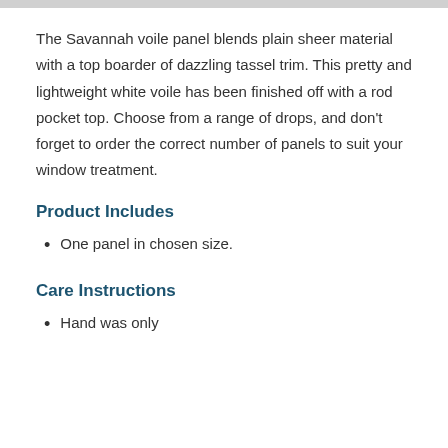The Savannah voile panel blends plain sheer material with a top boarder of dazzling tassel trim. This pretty and lightweight white voile has been finished off with a rod pocket top. Choose from a range of drops, and don't forget to order the correct number of panels to suit your window treatment.
Product Includes
One panel in chosen size.
Care Instructions
Hand was only